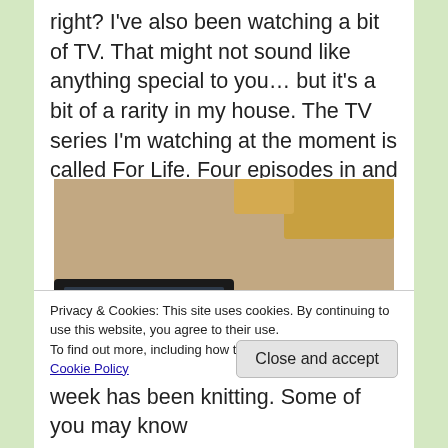right? I've also been watching a bit of TV. That might not sound like anything special to you… but it's a bit of a rarity in my house. The TV series I'm watching at the moment is called For Life. Four episodes in and I'm really enjoying it!
[Figure (photo): Overhead view of a person knitting a purple cable-knit project while sitting near a laptop computer and chair on a carpeted floor]
Privacy & Cookies: This site uses cookies. By continuing to use this website, you agree to their use.
To find out more, including how to control cookies, see here: Cookie Policy
Close and accept
week has been knitting. Some of you may know